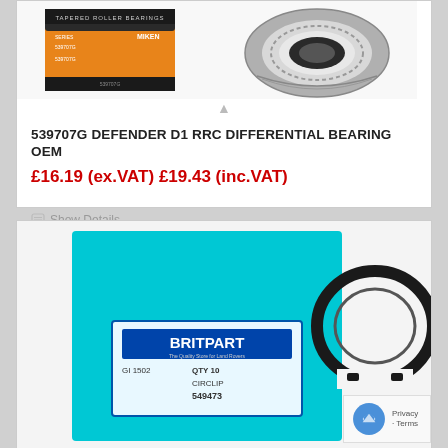[Figure (photo): Product photos: tapered roller bearing in orange box on left, and a silver tapered roller bearing component on right]
539707G DEFENDER D1 RRC DIFFERENTIAL BEARING OEM
£16.19 (ex.VAT) £19.43 (inc.VAT)
Show Details
[Figure (photo): Product photos: cyan/blue Britpart packaging box with QTY 10, CIRCLIP, 549473 label on left, and a black circlip/snap ring on right. reCAPTCHA badge bottom right.]